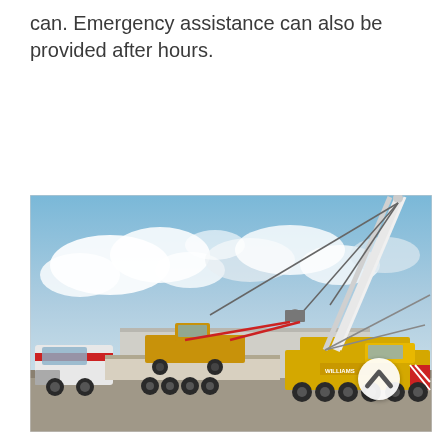can. Emergency assistance can also be provided after hours.
[Figure (photo): Outdoor industrial scene showing a large mobile crane (yellow, branded 'Williams') lifting heavy construction equipment (a wheel loader/grader) onto a semi-truck flatbed trailer. Blue sky with white clouds in the background. Concrete lot surface.]